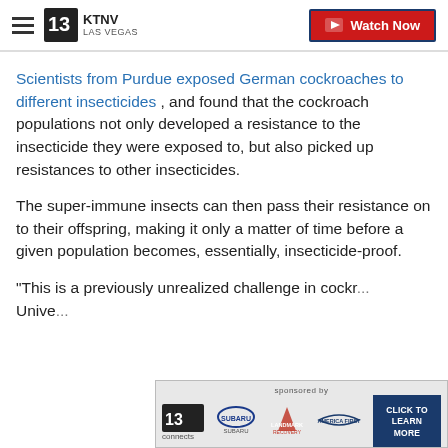KTNV LAS VEGAS — Watch Now
Scientists from Purdue exposed German cockroaches to different insecticides , and found that the cockroach populations not only developed a resistance to the insecticide they were exposed to, but also picked up resistances to other insecticides.
The super-immune insects can then pass their resistance on to their offspring, making it only a matter of time before a given population becomes, essentially, insecticide-proof.
"This is a previously unrealized challenge in cockr... Unive...
[Figure (screenshot): Advertisement banner: 13 connects, sponsored by Subaru, Landmark Recovery, America First, with a 'Click to Learn More' button]